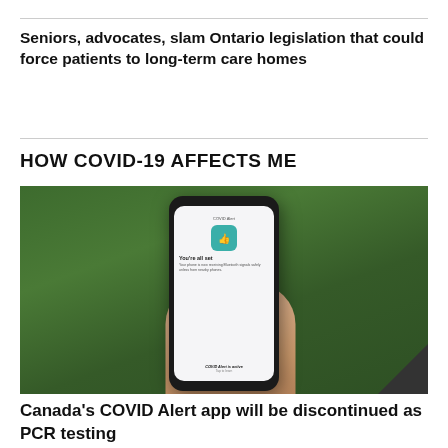Seniors, advocates, slam Ontario legislation that could force patients to long-term care homes
HOW COVID-19 AFFECTS ME
[Figure (photo): A hand holding a smartphone displaying the COVID Alert app screen with a thumbs-up icon and 'You're all set' message, against a green grass background.]
Canada's COVID Alert app will be discontinued as PCR testing